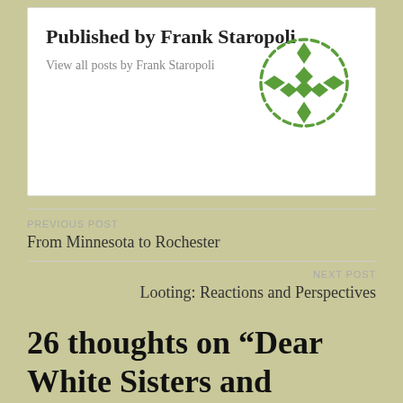Published by Frank Staropoli
View all posts by Frank Staropoli
[Figure (logo): Green decorative geometric logo with diamond shapes arranged in a circular pattern with dashed border]
PREVIOUS POST
From Minnesota to Rochester
NEXT POST
Looting: Reactions and Perspectives
26 thoughts on “Dear White Sisters and Brothers”